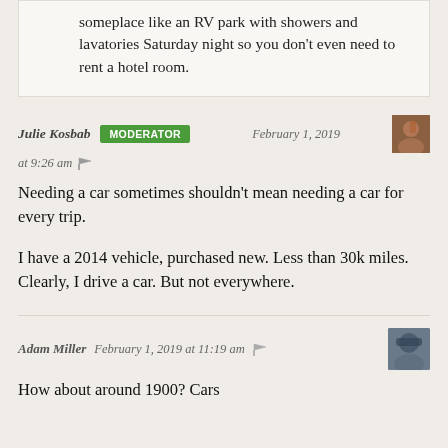someplace like an RV park with showers and lavatories Saturday night so you don't even need to rent a hotel room.
Julie Kosbab  MODERATOR  February 1, 2019 at 9:26 am
Needing a car sometimes shouldn't mean needing a car for every trip.

I have a 2014 vehicle, purchased new. Less than 30k miles. Clearly, I drive a car. But not everywhere.
Adam Miller  February 1, 2019 at 11:19 am
How about around 1900? Cars